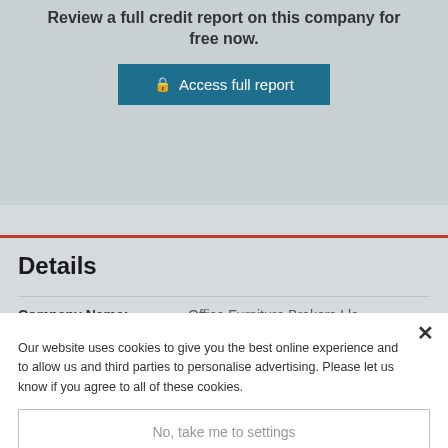Review a full credit report on this company for free now.
Access full report
Details
Company Name: Office Furniture Brokers Llc
Company Address: 1375 W 900 S West Jordan
Our website uses cookies to give you the best online experience and to allow us and third parties to personalise advertising. Please let us know if you agree to all of these cookies.
No, take me to settings